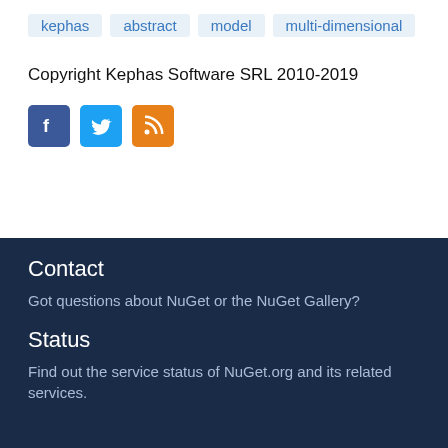kephas
abstract
model
multi-dimensional
Copyright Kephas Software SRL 2010-2019
[Figure (infographic): Social media icons: Facebook (blue), Twitter (light blue), RSS (orange)]
Contact
Got questions about NuGet or the NuGet Gallery?
Status
Find out the service status of NuGet.org and its related services.